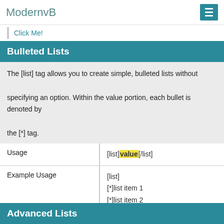ModernvB
Click Me!
Bulleted Lists
The [list] tag allows you to create simple, bulleted lists without specifying an option. Within the value portion, each bullet is denoted by the [*] tag.
| Usage | [list]value[/list] |
| Example Usage | [list]
[*]list item 1
[*]list item 2
[/list] |
| Example Output | • list item 1
• list item 2 |
Advanced Lists